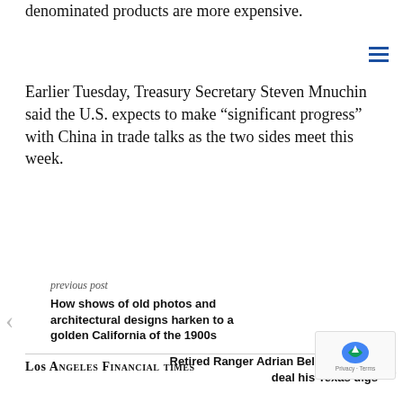denominated products are more expensive.
Earlier Tuesday, Treasury Secretary Steven Mnuchin said the U.S. expects to make “significant progress” with China in trade talks as the two sides meet this week.
previous post
How shows of old photos and architectural designs harken to a golden California of the 1900s
next post
Retired Ranger Adrian Beltré looks to deal his Texas digs
Los Angeles Financial times